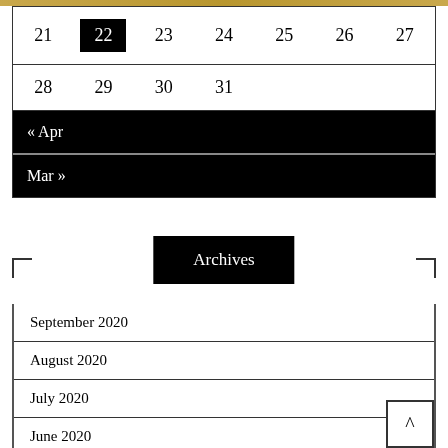| 21 | 22 | 23 | 24 | 25 | 26 | 27 |
| --- | --- | --- | --- | --- | --- | --- |
| 28 | 29 | 30 | 31 |  |  |  |
« Apr
Mar »
Archives
September 2020
August 2020
July 2020
June 2020
May 2020